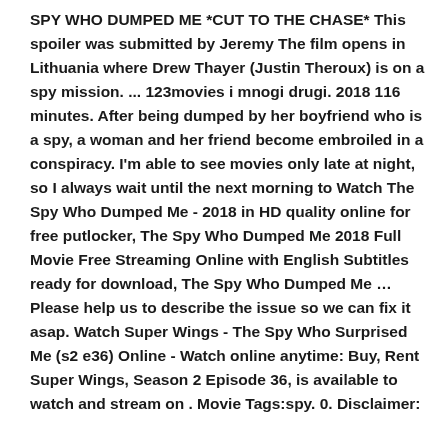SPY WHO DUMPED ME *CUT TO THE CHASE* This spoiler was submitted by Jeremy The film opens in Lithuania where Drew Thayer (Justin Theroux) is on a spy mission. ... 123movies i mnogi drugi. 2018 116 minutes. After being dumped by her boyfriend who is a spy, a woman and her friend become embroiled in a conspiracy. I'm able to see movies only late at night, so I always wait until the next morning to Watch The Spy Who Dumped Me - 2018 in HD quality online for free putlocker, The Spy Who Dumped Me 2018 Full Movie Free Streaming Online with English Subtitles ready for download, The Spy Who Dumped Me … Please help us to describe the issue so we can fix it asap. Watch Super Wings - The Spy Who Surprised Me (s2 e36) Online - Watch online anytime: Buy, Rent Super Wings, Season 2 Episode 36, is available to watch and stream on . Movie Tags:spy. 0. Disclaimer: